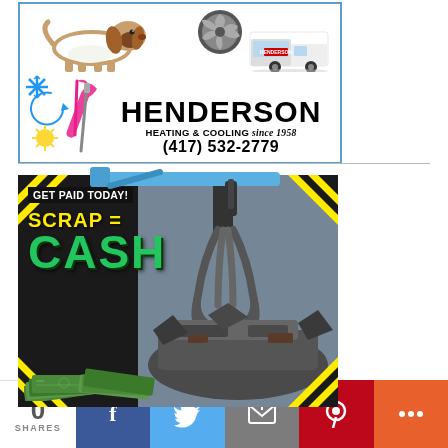[Figure (illustration): Henderson Heating & Cooling advertisement featuring a basset hound, a fan, a white service van, HVAC icons (snowflake, sun, tools), the company name HENDERSON HEATING & COOLING since 1958, and phone number (417) 532-2779]
[Figure (illustration): Scrap metal advertisement showing a crane claw gripping crushed cars with cash bills, text reads GET PAID TODAY! SCRAP = CASH on black background with yellow hazard stripes]
0
SHARES